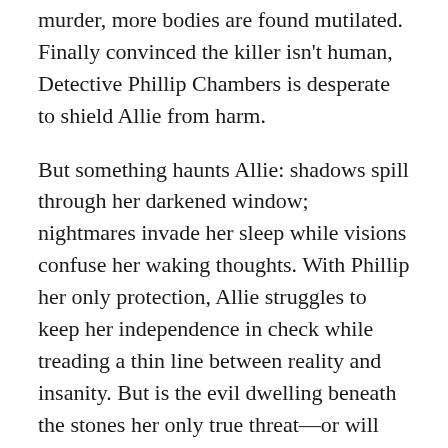murder, more bodies are found mutilated. Finally convinced the killer isn't human, Detective Phillip Chambers is desperate to shield Allie from harm.
But something haunts Allie: shadows spill through her darkened window; nightmares invade her sleep while visions confuse her waking thoughts. With Phillip her only protection, Allie struggles to keep her independence in check while treading a thin line between reality and insanity. But is the evil dwelling beneath the stones her only true threat—or will the demons in Allie's head have the strength to destroy them both? – Goodreads.com
I've been a horror fan since third grade when I read my first 'age appropriate' horror book – then moved on to Stephen King and others soon after, craving more than the 'appropriate' books could provide.  Blood of the Sixth is most definitely a horror